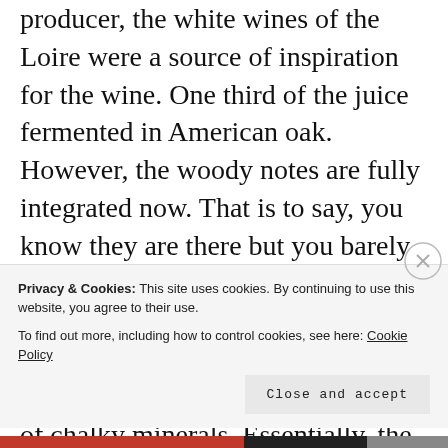producer, the white wines of the Loire were a source of inspiration for the wine. One third of the juice fermented in American oak. However, the woody notes are fully integrated now. That is to say, you know they are there but you barely notice them, if at all. Instead, they add a backbone or an added layer of savoury, tactile complexity, while complementing what to me screams of chalky minerals. Essentially, the wine is also quite powerful and ripe
Privacy & Cookies: This site uses cookies. By continuing to use this website, you agree to their use.
To find out more, including how to control cookies, see here: Cookie Policy
Close and accept